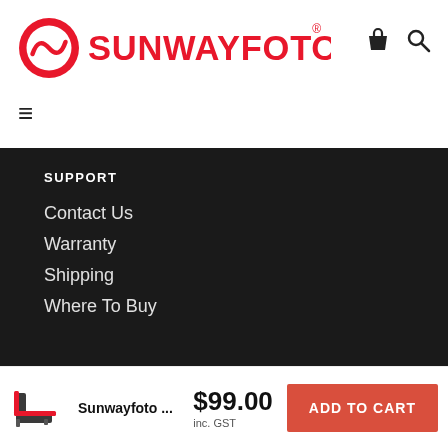[Figure (logo): Sunwayfoto brand logo: red circular icon with stylized camera/wave shape, red bold text SUNWAYFOTO with registered trademark symbol]
SUPPORT
Contact Us
Warranty
Shipping
Where To Buy
[Figure (photo): Small product thumbnail image of a Sunwayfoto L-bracket/camera plate in red and black]
Sunwayfoto ...
$99.00
inc. GST
ADD TO CART